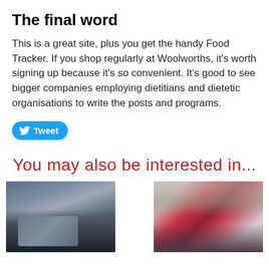The final word
This is a great site, plus you get the handy Food Tracker. If you shop regularly at Woolworths, it's worth signing up because it's so convenient. It's good to see bigger companies employing dietitians and dietetic organisations to write the posts and programs.
[Figure (other): Blue Twitter Tweet button with bird icon]
You may also be interested in...
[Figure (photo): Family sitting on a couch, man and child eating from bowls, with a dog]
[Figure (photo): Woman in red floral top smiling and eating a salad]